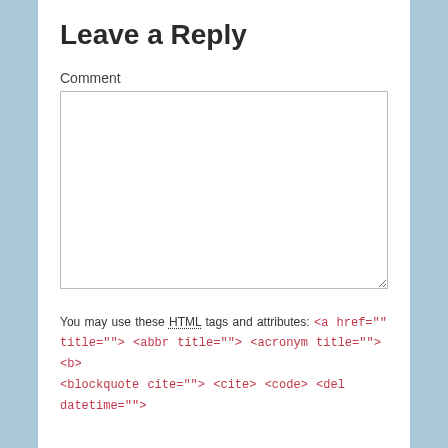Leave a Reply
Comment
You may use these HTML tags and attributes: <a href="" title=""> <abbr title=""> <acronym title=""> <b> <blockquote cite=""> <cite> <code> <del datetime="">